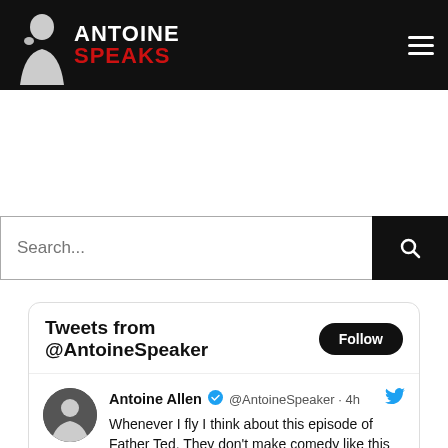ANTOINE SPEAKS
Search...
Tweets from @AntoineSpeaker  Follow
Antoine Allen @AntoineSpeaker · 4h
Whenever I fly I think about this episode of Father Ted. They don't make comedy like this anymore